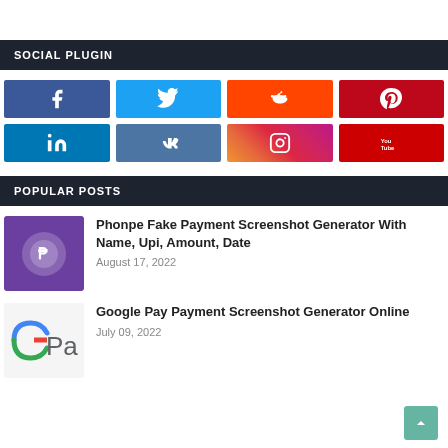SOCIAL PLUGIN
[Figure (infographic): Social media icons grid: Facebook, Twitter, Reddit, Pinterest (top row); LinkedIn, VK, Instagram, YouTube (bottom row)]
POPULAR POSTS
[Figure (photo): PhonePe logo on purple background]
Phonpe Fake Payment Screenshot Generator With Name, Upi, Amount, Date
August 17, 2022
[Figure (photo): Google Pay logo partial image]
Google Pay Payment Screenshot Generator Online
July 09, 2022